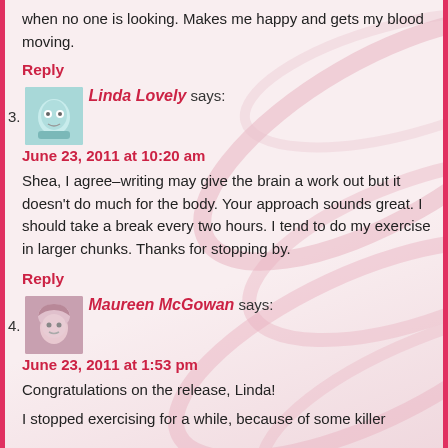when no one is looking. Makes me happy and gets my blood moving.
Reply
Linda Lovely says:
June 23, 2011 at 10:20 am
Shea, I agree–writing may give the brain a work out but it doesn't do much for the body. Your approach sounds great. I should take a break every two hours. I tend to do my exercise in larger chunks. Thanks for stopping by.
Reply
Maureen McGowan says:
June 23, 2011 at 1:53 pm
Congratulations on the release, Linda!
I stopped exercising for a while, because of some killer